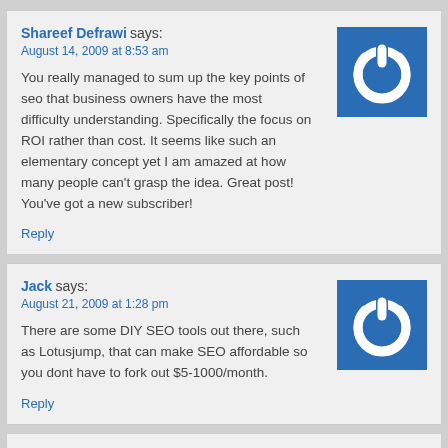Shareef Defrawi says:
August 14, 2009 at 8:53 am
You really managed to sum up the key points of seo that business owners have the most difficulty understanding. Specifically the focus on ROI rather than cost. It seems like such an elementary concept yet I am amazed at how many people can't grasp the idea. Great post! You've got a new subscriber!
Reply
[Figure (logo): Blue square with white power button icon]
Jack says:
August 21, 2009 at 1:28 pm
There are some DIY SEO tools out there, such as Lotusjump, that can make SEO affordable so you dont have to fork out $5-1000/month.
Reply
[Figure (logo): Blue square with white power button icon]